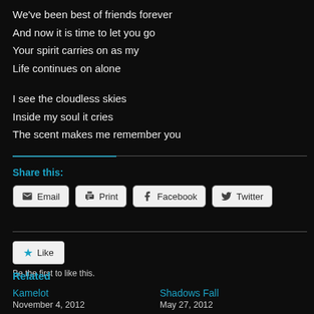We've been best of friends forever
And now it is time to let you go
Your spirit carries on as my
Life continues on alone

I see the cloudless skies
Inside my soul it cries
The scent makes me remember you
Share this:
Email  Print  Facebook  Twitter
Like
Be the first to like this.
Related
Kamelot
November 4, 2012
Shadows Fall
May 27, 2012